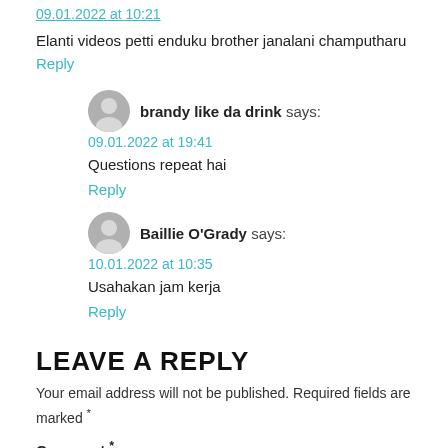Elanti videos petti enduku brother janalani champutharu
Reply
brandy like da drink says:
09.01.2022 at 19:41
Questions repeat hai
Reply
Baillie O'Grady says:
10.01.2022 at 10:35
Usahakan jam kerja
Reply
LEAVE A REPLY
Your email address will not be published. Required fields are marked *
Comment *